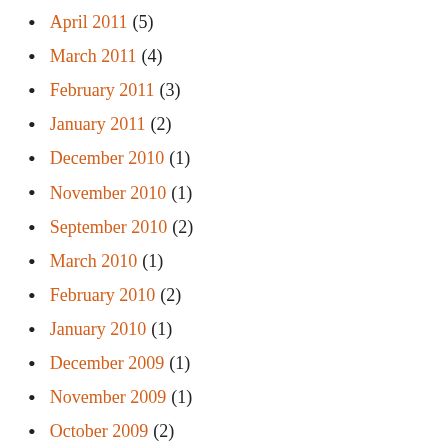April 2011 (5)
March 2011 (4)
February 2011 (3)
January 2011 (2)
December 2010 (1)
November 2010 (1)
September 2010 (2)
March 2010 (1)
February 2010 (2)
January 2010 (1)
December 2009 (1)
November 2009 (1)
October 2009 (2)
August 2009 (1)
May 2009 (1)
April 2009 (1)